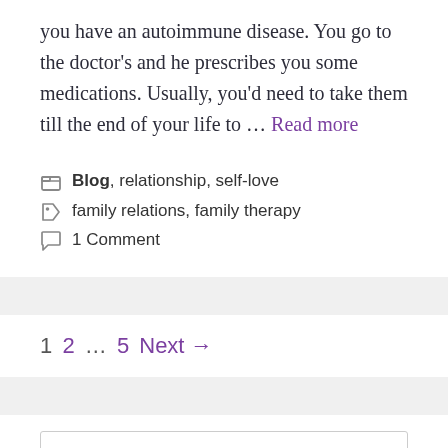you have an autoimmune disease. You go to the doctor's and he prescribes you some medications. Usually, you'd need to take them till the end of your life to … Read more
Categories: Blog, relationship, self-love
Tags: family relations, family therapy
1 Comment
1 2 … 5 Next →
Search ...